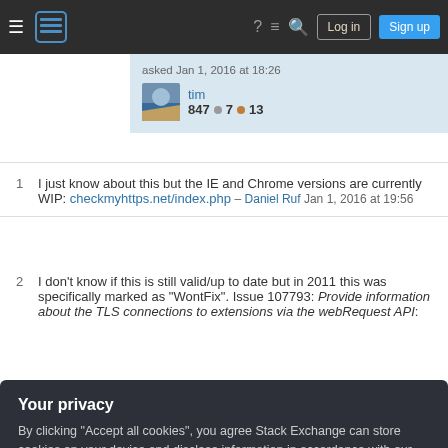Stack Exchange navigation bar with Log in and Sign up buttons
asked Jan 1, 2016 at 18:26
tim 847 · 7 · 13
1 I just know about this but the IE and Chrome versions are currently WIP: checkmyhttps.net/index.php – Daniel Ruf Jan 1, 2016 at 19:56
2 I don't know if this is still valid/up to date but in 2011 this was specifically marked as "WontFix". Issue 107793: Provide information about the TLS connections to extensions via the webRequest API:
Your privacy
By clicking "Accept all cookies", you agree Stack Exchange can store cookies on your device and disclose information in accordance with our Cookie Policy.
TLS-unique CB). You could synthesize a TLS-server-id